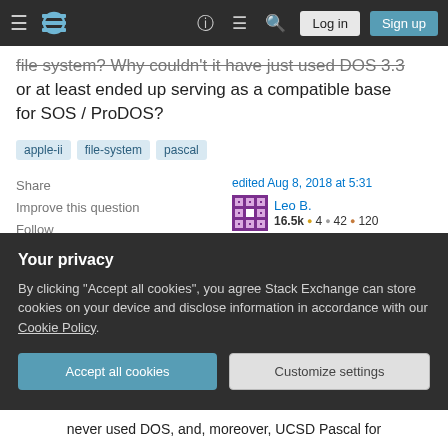Stack Exchange navigation bar with Log in and Sign up buttons
file system? Why couldn't it have just used DOS 3.3 or at least ended up serving as a compatible base for SOS / ProDOS?
apple-ii   file-system   pascal
Share
Improve this question
Follow
edited Aug 8, 2018 at 5:31
Leo B.
16.5k ● 4 ● 42 ● 120
asked Aug 31, 2017 at 14:03
bjb
Your privacy
By clicking "Accept all cookies", you agree Stack Exchange can store cookies on your device and disclose information in accordance with our Cookie Policy.
Accept all cookies   Customize settings
never used DOS, and, moreover, UCSD Pascal for